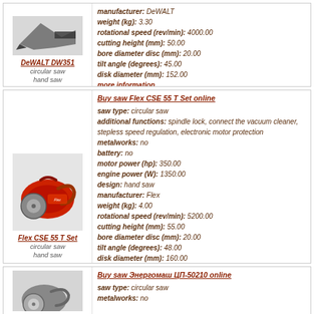[Figure (photo): DeWALT DW351 circular saw / hand saw product image]
DeWALT DW351
circular saw
hand saw
manufacturer: DeWALT
weight (kg): 3.30
rotational speed (rev/min): 4000.00
cutting height (mm): 50.00
bore diameter disc (mm): 20.00
tilt angle (degrees): 45.00
disk diameter (mm): 152.00
more information
Buy saw Flex CSE 55 T Set online
saw type: circular saw
additional functions: spindle lock, connect the vacuum cleaner, stepless speed regulation, electronic motor protection
metalworks: no
battery: no
motor power (hp): 350.00
engine power (W): 1350.00
design: hand saw
manufacturer: Flex
weight (kg): 4.00
rotational speed (rev/min): 5200.00
cutting height (mm): 55.00
bore diameter disc (mm): 20.00
tilt angle (degrees): 48.00
disk diameter (mm): 160.00
more information
[Figure (photo): Flex CSE 55 T Set circular saw / hand saw product image]
Flex CSE 55 T Set
circular saw
hand saw
Buy saw Энергомаш ЦП-50210 online
saw type: circular saw
metalworks: no